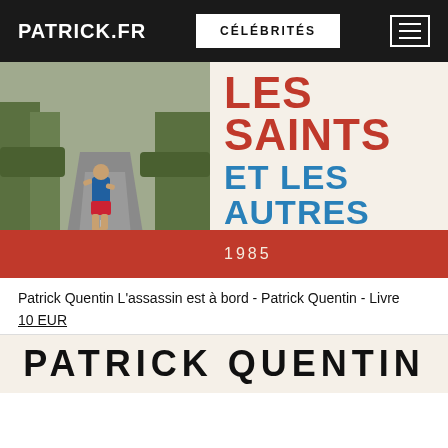PATRICK.FR | CÉLÉBRITÉS
[Figure (photo): Book cover of 'Les Saints et les Autres' (1985) showing a runner on a country road on the left half, and the book title text on the right half with a red band at the bottom showing year 1985.]
Patrick Quentin L'assassin est à bord - Patrick Quentin - Livre
10 EUR
[Figure (photo): Partial view of a book cover showing 'PATRICK QUENTIN' in large bold letters.]